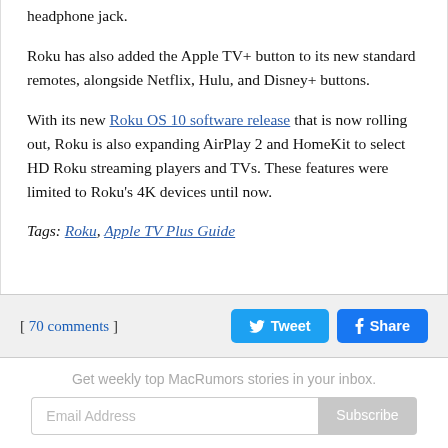headphone jack.
Roku has also added the Apple TV+ button to its new standard remotes, alongside Netflix, Hulu, and Disney+ buttons.
With its new Roku OS 10 software release that is now rolling out, Roku is also expanding AirPlay 2 and HomeKit to select HD Roku streaming players and TVs. These features were limited to Roku's 4K devices until now.
Tags: Roku, Apple TV Plus Guide
[ 70 comments ]
Get weekly top MacRumors stories in your inbox.
Email Address  Subscribe